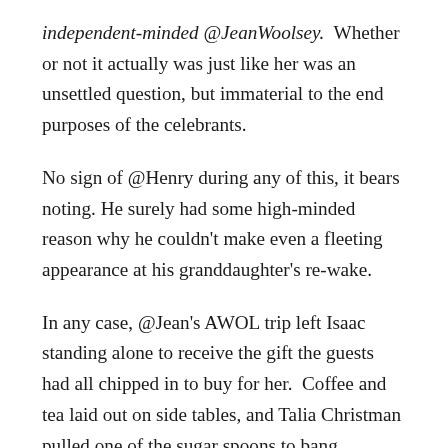independent-minded @JeanWoolsey.  Whether or not it actually was just like her was an unsettled question, but immaterial to the end purposes of the celebrants.
No sign of @Henry during any of this, it bears noting. He surely had some high-minded reason why he couldn't make even a fleeting appearance at his granddaughter's re-wake.
In any case, @Jean's AWOL trip left Isaac standing alone to receive the gift the guests had all chipped in to buy for her.  Coffee and tea laid out on side tables, and Talia Christman pulled one of the sugar spoons to bang repeatedly on her ceramic mug, until the deejay took her cue to turn down the afrobeat or whatever she had playing at that point in the mix.  Talia called for the